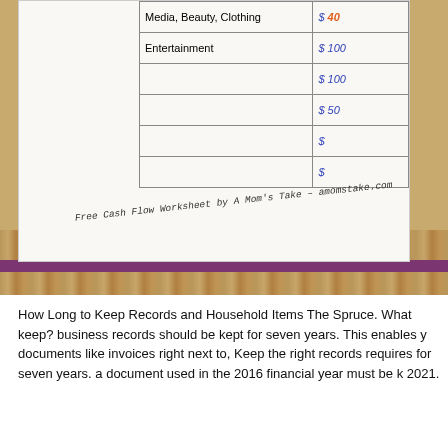[Figure (photo): A partial photo of a Free Cash Flow Worksheet printed on white paper, lying on a wooden surface with a purple folder/binder edge visible. The worksheet shows handwritten entries including 'Media, Beauty, Clothing', 'Entertainment' in the category column, and dollar amounts '$40', '$100', '$100', '$50', '$', '$' in the value column. A handwritten note reads 'Free Cash Flow Worksheet by A Mom's Take - amomstake.com'.]
How Long to Keep Records and Household Items The Spruce. What keep? business records should be kept for seven years. This enables y documents like invoices right next to, Keep the right records requires for seven years. a document used in the 2016 financial year must be k 2021.